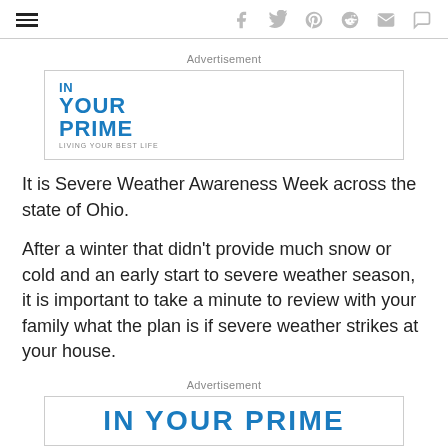≡  f  𝕏  p  reddit  ✉  ○
Advertisement
[Figure (logo): IN YOUR PRIME - LIVING YOUR BEST LIFE logo in blue]
It is Severe Weather Awareness Week across the state of Ohio.
After a winter that didn't provide much snow or cold and an early start to severe weather season, it is important to take a minute to review with your family what the plan is if severe weather strikes at your house.
Advertisement
[Figure (logo): Partial advertisement banner visible at bottom, blue bold text cut off]